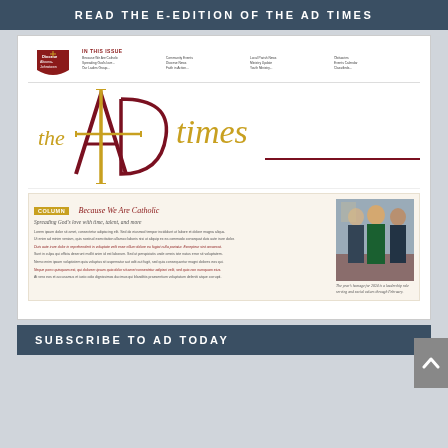READ THE E-EDITION OF THE AD TIMES
[Figure (screenshot): Screenshot of the AD Times newspaper e-edition front page showing the Diocese of Altoona-Johnstown logo, the masthead with 'the AD times' in gold/maroon calligraphy, an 'In This Issue' table of contents, and an article section titled 'Because We Are Catholic' with subheading 'Spreading God's love with time, talent, and more' alongside a photo of people.]
SUBSCRIBE TO AD TODAY